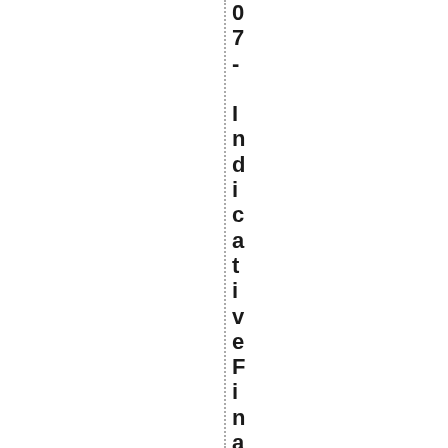07 - IndicativeFinalLandscapeDes...